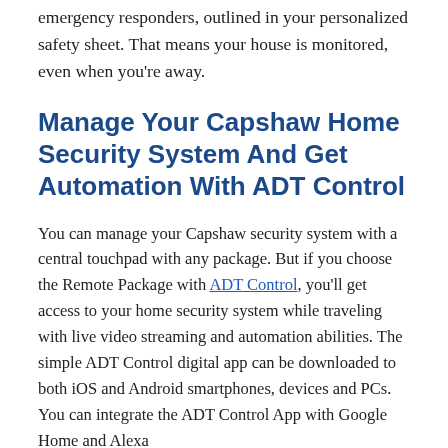emergency responders, outlined in your personalized safety sheet. That means your house is monitored, even when you're away.
Manage Your Capshaw Home Security System And Get Automation With ADT Control
You can manage your Capshaw security system with a central touchpad with any package. But if you choose the Remote Package with ADT Control, you'll get access to your home security system while traveling with live video streaming and automation abilities. The simple ADT Control digital app can be downloaded to both iOS and Android smartphones, devices and PCs. You can integrate the ADT Control App with Google Home and Alexa